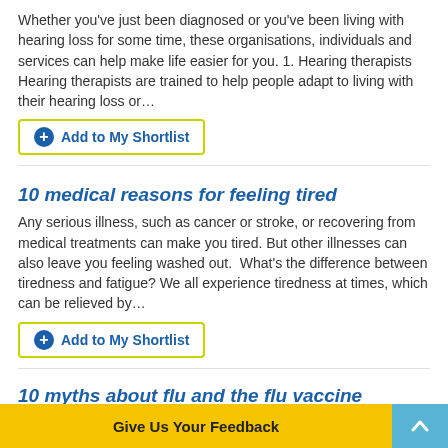Whether you've just been diagnosed or you've been living with hearing loss for some time, these organisations, individuals and services can help make life easier for you. 1. Hearing therapists Hearing therapists are trained to help people adapt to living with their hearing loss or…
Add to My Shortlist
10 medical reasons for feeling tired
Any serious illness, such as cancer or stroke, or recovering from medical treatments can make you tired. But other illnesses can also leave you feeling washed out.  What's the difference between tiredness and fatigue? We all experience tiredness at times, which can be relieved by…
Add to My Shortlist
10 myths about flu and the flu vaccine
There are many myths surrounding flu and the flu vaccine. Here are 10 common flu my… m.
Give Us Your Feedback